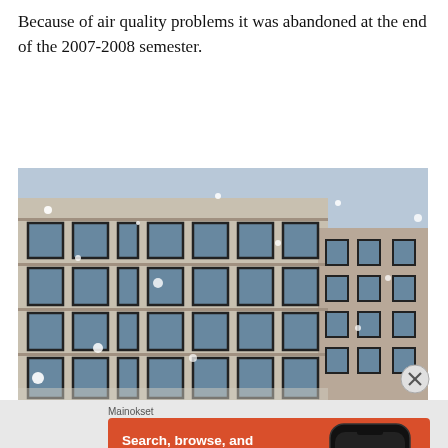Because of air quality problems it was abandoned at the end of the 2007-2008 semester.
[Figure (photo): A multi-story building with large windows in snowy winter weather. Two buildings visible — a wider modern one on the left and a taller brick one on the right. Snowflakes falling in foreground.]
Mainokset
[Figure (screenshot): DuckDuckGo advertisement: orange background with white bold text 'Search, browse, and email with more privacy.' and a white button 'All in One Free App'. A phone mockup showing DuckDuckGo logo on the right side.]